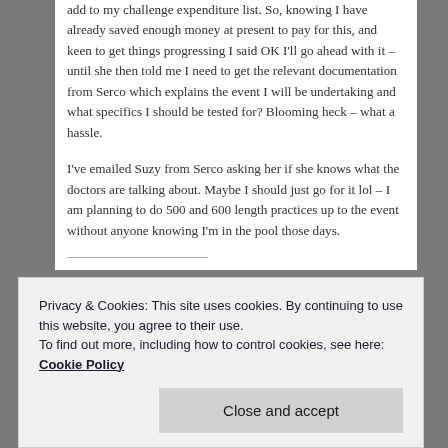add to my challenge expenditure list. So, knowing I have already saved enough money at present to pay for this, and keen to get things progressing I said OK I'll go ahead with it – until she then told me I need to get the relevant documentation from Serco which explains the event I will be undertaking and what specifics I should be tested for? Blooming heck – what a hassle.
I've emailed Suzy from Serco asking her if she knows what the doctors are talking about. Maybe I should just go for it lol – I am planning to do 500 and 600 length practices up to the event without anyone knowing I'm in the pool those days.
Privacy & Cookies: This site uses cookies. By continuing to use this website, you agree to their use.
To find out more, including how to control cookies, see here: Cookie Policy